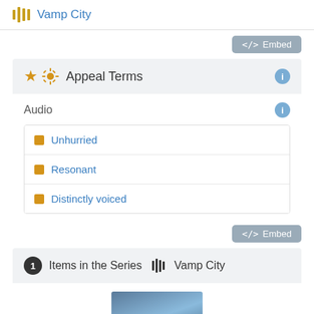Vamp City
Embed
Appeal Terms
Audio
Unhurried
Resonant
Distinctly voiced
Embed
1 Items in the Series  Vamp City